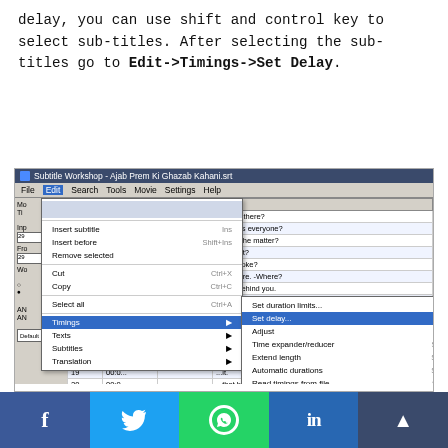delay, you can use shift and control key to select sub-titles. After selecting the sub-titles go to Edit->Timings->Set Delay.
[Figure (screenshot): Screenshot of Subtitle Workshop application showing the Edit menu open with Timings submenu expanded, highlighting 'Set delay...' option with Ctrl+D shortcut. The subtitle list shows multiple subtitles with timestamps.]